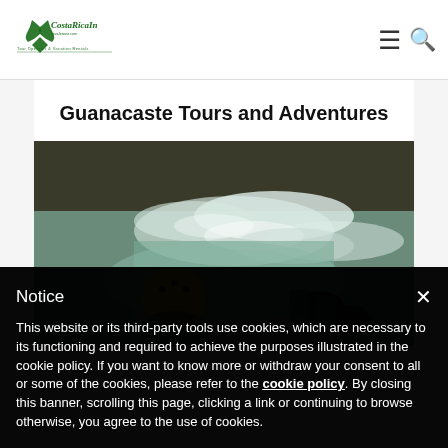[Figure (logo): Costa Rica In logo with text Tour Operator & Vacation Rentals]
Guanacaste Tours and Adventures
[Figure (photo): Person in yellow helmet tubing or kayaking on white water rapids, viewed from above]
Notice
This website or its third-party tools use cookies, which are necessary to its functioning and required to achieve the purposes illustrated in the cookie policy. If you want to know more or withdraw your consent to all or some of the cookies, please refer to the cookie policy. By closing this banner, scrolling this page, clicking a link or continuing to browse otherwise, you agree to the use of cookies.